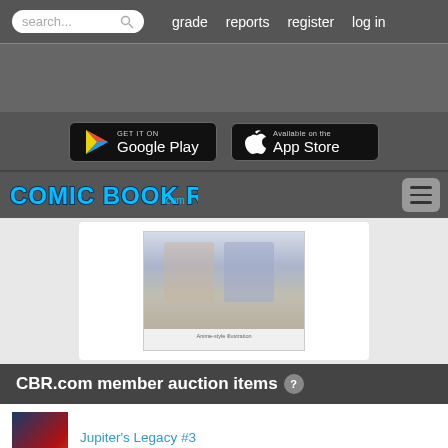search... | grade | reports | register | log in
[Figure (screenshot): Google Play store button]
[Figure (screenshot): Apple App Store button]
[Figure (logo): Comic Book Realm .com logo]
[Figure (photo): Comic book cover image showing anime-style characters at a table]
CBR.com member auction items ?
Jupiter's Legacy #3
$4.99 | Ends:
X-men Vs Apocalypse: The Twelve Tpb 1st
$32.50 | Ends: 9/11 8:00 pm